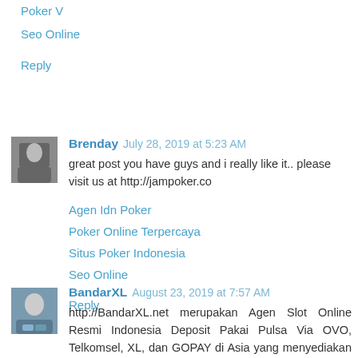Poker V
Seo Online
Reply
Brenday  July 28, 2019 at 5:23 AM
great post you have guys and i really like it.. please visit us at http://jampoker.co
Agen Idn Poker
Poker Online Terpercaya
Situs Poker Indonesia
Seo Online
Reply
BandarXL  August 23, 2019 at 7:57 AM
http://BandarXL.net merupakan Agen Slot Online Resmi Indonesia Deposit Pakai Pulsa Via OVO, Telkomsel, XL, dan GOPAY di Asia yang menyediakan permainan Situs Slot, Casino Online, Bandar Taruhan Bola Sbobet